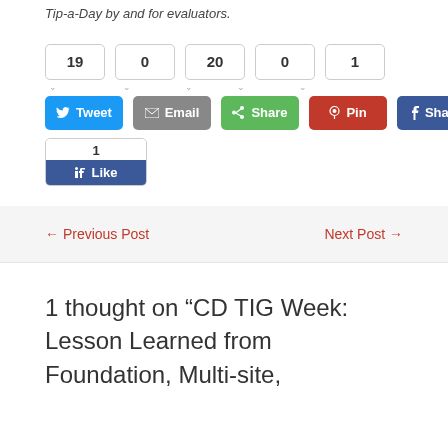Tip-a-Day by and for evaluators.
[Figure (screenshot): Social share count boxes showing: 19, 0, 20, 0, 1]
[Figure (screenshot): Social share buttons: Tweet (blue), Email (gray), Share (green), Pin (red), Share (Facebook blue), and Facebook Like widget with count 1]
← Previous Post
Next Post →
1 thought on "CD TIG Week: Lesson Learned from Foundation, Multi-site,